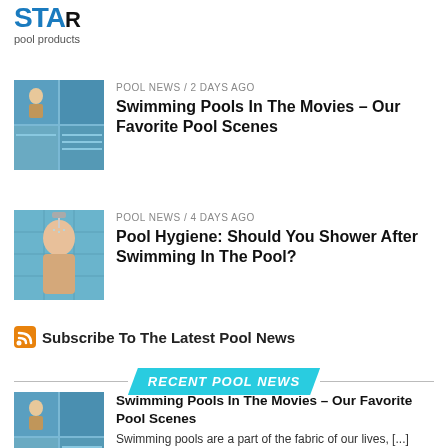pool products
POOL NEWS / 2 days ago
Swimming Pools In The Movies – Our Favorite Pool Scenes
POOL NEWS / 4 days ago
Pool Hygiene: Should You Shower After Swimming In The Pool?
Subscribe To The Latest Pool News
RECENT POOL NEWS
Swimming Pools In The Movies – Our Favorite Pool Scenes
Swimming pools are a part of the fabric of our lives, [...]